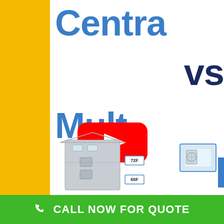Centra vs Multi
[Figure (screenshot): YouTube video thumbnail showing 'Central vs Multi' HVAC comparison with a YouTube play button overlay and house cross-section illustrations showing HVAC units at 72F temperature setting]
CALL NOW FOR QUOTE